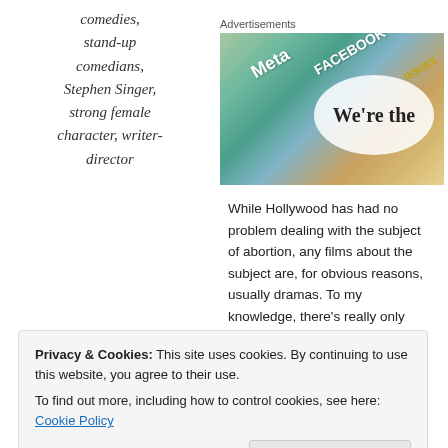comedies, stand-up comedians, Stephen Singer, strong female character, writer-director
Advertisements
[Figure (photo): Advertisement banner showing overlapping cards/tiles with text including Meta, Facebook, and 'We're the' with colorful background]
While Hollywood has had no problem dealing with the subject of abortion, any films about the subject are, for obvious reasons, usually dramas. To my knowledge, there's really only been one abortion-themed comedy and that was Alexander Payne's explicitly political satire Citizen Ruth (1996). This makes writer-director
Privacy & Cookies: This site uses cookies. By continuing to use this website, you agree to their use.
To find out more, including how to control cookies, see here: Cookie Policy
Close and accept